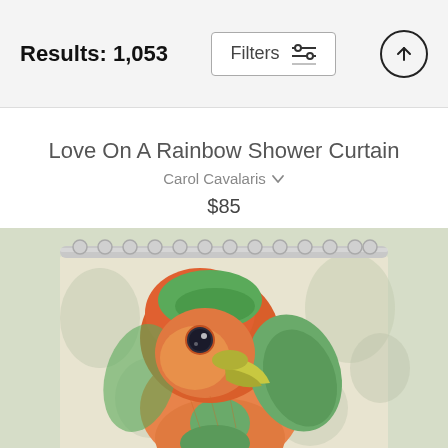Results: 1,053
Love On A Rainbow Shower Curtain
Carol Cavalaris
$85
[Figure (photo): Shower curtain product photo showing a close-up illustration of a lovebird parrot with orange/red head, green wings, and yellow beak on a soft green and beige background. The curtain is hung on a silver rod with metal rings.]